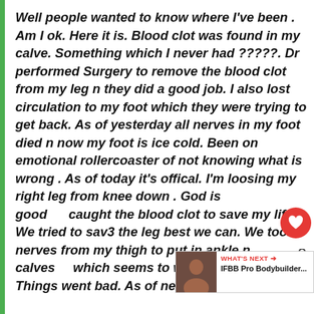Well people wanted to know where I've been . Am I ok. Here it is. Blood clot was found in my calve. Something which I never had ?????. Dr performed Surgery to remove the blood clot from my leg n they did a good job. I also lost circulation to my foot which they were trying to get back. As of yesterday all nerves in my foot died n now my foot is ice cold. Been on emotional rollercoaster of not knowing what is wrong . As of today it's offical. I'm loosing my right leg from knee down . God is good e caught the blood clot to save my life . We tried to sav3 the leg best we can. We took nerves from my thigh to put in ankle n calves which seems to work up until last . Things went bad. As of next week they will